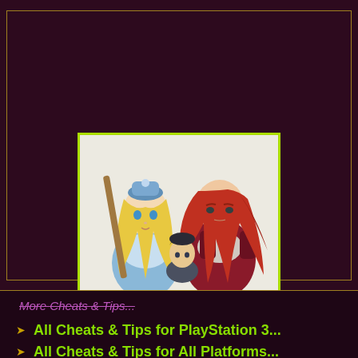[Figure (illustration): Anime-style artwork showing three characters: a blonde girl in blue outfit with a weapon, a red-haired woman in armor, and a dark-haired boy in the background.]
More Cheats & Tips...
All Cheats & Tips for PlayStation 3...
All Cheats & Tips for All Platforms...